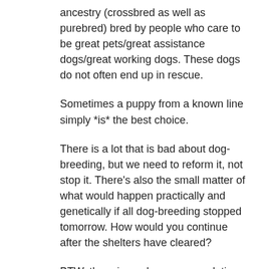ancestry (crossbred as well as purebred) bred by people who care to be great pets/great assistance dogs/great working dogs. These dogs do not often end up in rescue.
Sometimes a puppy from a known line simply *is* the best choice.
There is a lot that is bad about dog-breeding, but we need to reform it, not stop it. There’s also the small matter of what would happen practically and genetically if all dog-breeding stopped tomorrow. How would you continue after the shelters have cleared?
BTW, there is no dog over-population